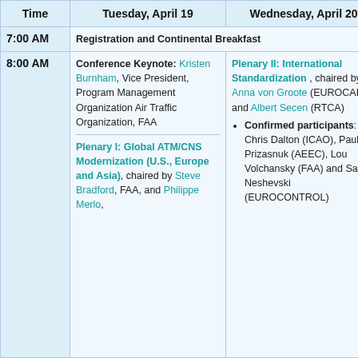| Time | Tuesday, April 19 | Wednesday, April 20 | T |
| --- | --- | --- | --- |
| 7:00 AM | Registration and Continental Breakfast |  |  |
| 8:00 AM | Conference Keynote: Kristen Burnham, Vice President, Program Management Organization Air Traffic Organization, FAA

Plenary I: Global ATM/CNS Modernization (U.S., Europe and Asia), chaired by Steve Bradford, FAA, and Philippe Merlo, | Plenary II: International Standardization, chaired by Anna von Groote (EUROCAE) and Albert Secen (RTCA)
• Confirmed participants: Chris Dalton (ICAO), Paul Prizasnuk (AEEC), Lou Volchansky (FAA) and Sasho Neshevski (EUROCONTROL) |  |